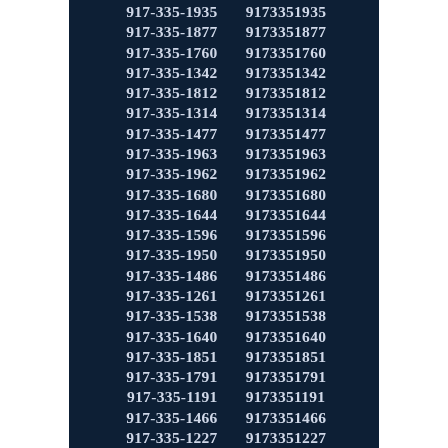| Formatted | Unformatted |
| --- | --- |
| 917-335-1935 | 9173351935 |
| 917-335-1877 | 9173351877 |
| 917-335-1760 | 9173351760 |
| 917-335-1342 | 9173351342 |
| 917-335-1812 | 9173351812 |
| 917-335-1314 | 9173351314 |
| 917-335-1477 | 9173351477 |
| 917-335-1963 | 9173351963 |
| 917-335-1962 | 9173351962 |
| 917-335-1680 | 9173351680 |
| 917-335-1644 | 9173351644 |
| 917-335-1596 | 9173351596 |
| 917-335-1950 | 9173351950 |
| 917-335-1486 | 9173351486 |
| 917-335-1261 | 9173351261 |
| 917-335-1538 | 9173351538 |
| 917-335-1640 | 9173351640 |
| 917-335-1851 | 9173351851 |
| 917-335-1791 | 9173351791 |
| 917-335-1191 | 9173351191 |
| 917-335-1466 | 9173351466 |
| 917-335-1227 | 9173351227 |
| 917-335-1397 | 9173351397 |
| 917-335-1925 | 9173351925 |
| 917-335-1138 | 9173351138 |